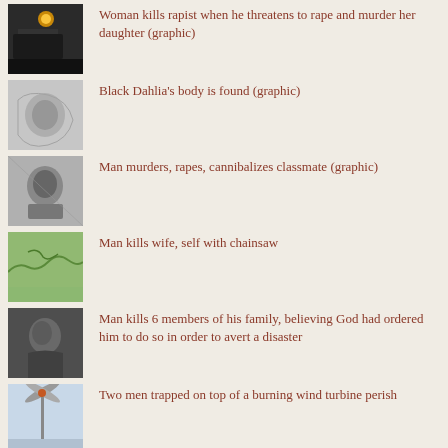Woman kills rapist when he threatens to rape and murder her daughter (graphic)
Black Dahlia's body is found (graphic)
Man murders, rapes, cannibalizes classmate (graphic)
Man kills wife, self with chainsaw
Man kills 6 members of his family, believing God had ordered him to do so in order to avert a disaster
Two men trapped on top of a burning wind turbine perish
Woman beaten, choked, and mutilated by husband for allegedly being intimate with her stepfather (graphic)